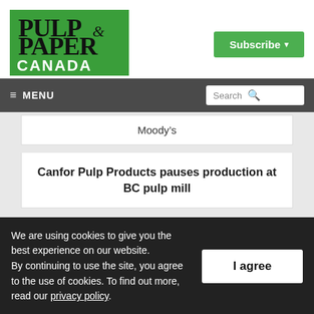[Figure (logo): Pulp & Paper Canada logo — green background with black and white text]
Subscribe ▾
≡ MENU   Search 🔍
Moody's
Canfor Pulp Products pauses production at BC pulp mill
Rayonier Advanced Materials to temporarily
We are using cookies to give you the best experience on our website. By continuing to use the site, you agree to the use of cookies. To find out more, read our privacy policy.
I agree